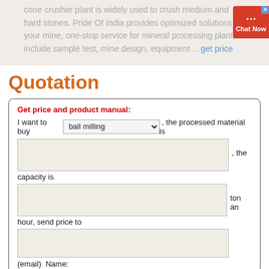cone crusher plant is widely used to crush medium and hard stones. Pride Of India provides optimized solutions for your mine, one-stop service for mineral processing plant, include sample test, mine design, equipment … get price
Quotation
Get price and product manual: I want to buy [ball milling dropdown], the processed material is [text input], the capacity is [text input] ton an hour, send price to [email input] Name: